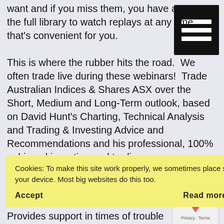want and if you miss them, you have access to the full library to watch replays at any time that's convenient for you.
This is where the rubber hits the road. We often trade live during these webinars! Trade Australian Indices & Shares ASX over the Short, Medium and Long-Term outlook, based on David Hunt's Charting, Technical Analysis and Trading & Investing Advice and Recommendations and his professional, 100% unbiased investing and trading
Cookies: To make this site work properly, we sometimes place small data files called cookies on your device. Most big websites do this too.
Accept
Read more
osses
Provides support in times of trouble